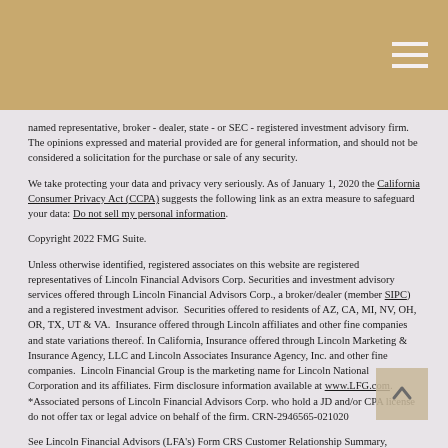named representative, broker - dealer, state - or SEC - registered investment advisory firm. The opinions expressed and material provided are for general information, and should not be considered a solicitation for the purchase or sale of any security.
We take protecting your data and privacy very seriously. As of January 1, 2020 the California Consumer Privacy Act (CCPA) suggests the following link as an extra measure to safeguard your data: Do not sell my personal information.
Copyright 2022 FMG Suite.
Unless otherwise identified, registered associates on this website are registered representatives of Lincoln Financial Advisors Corp. Securities and investment advisory services offered through Lincoln Financial Advisors Corp., a broker/dealer (member SIPC) and a registered investment advisor. Securities offered to residents of AZ, CA, MI, NV, OH, OR, TX, UT & VA. Insurance offered through Lincoln affiliates and other fine companies and state variations thereof. In California, Insurance offered through Lincoln Marketing & Insurance Agency, LLC and Lincoln Associates Insurance Agency, Inc. and other fine companies. Lincoln Financial Group is the marketing name for Lincoln National Corporation and its affiliates. Firm disclosure information available at www.LFG.com. *Associated persons of Lincoln Financial Advisors Corp. who hold a JD and/or CPA license do not offer tax or legal advice on behalf of the firm. CRN-2946565-021020
See Lincoln Financial Advisors (LFA's) Form CRS Customer Relationship Summary,